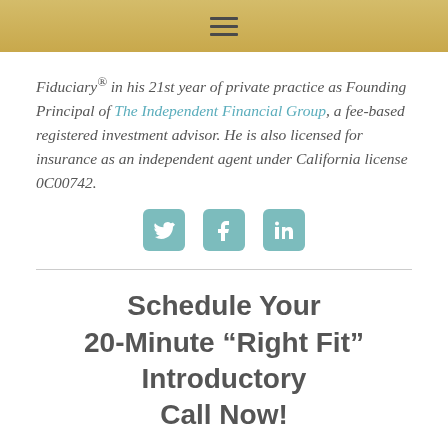Fiduciary® in his 21st year of private practice as Founding Principal of The Independent Financial Group, a fee-based registered investment advisor. He is also licensed for insurance as an independent agent under California license 0C00742.
[Figure (other): Three social media icon buttons: Twitter, Facebook, LinkedIn]
Schedule Your 20-Minute “Right Fit” Introductory Call Now!